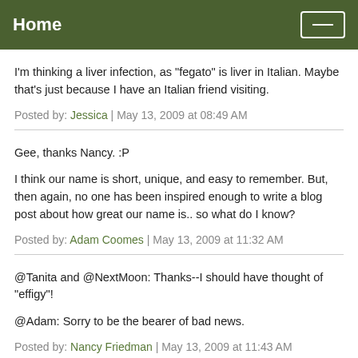Home
I'm thinking a liver infection, as "fegato" is liver in Italian. Maybe that's just because I have an Italian friend visiting.
Posted by: Jessica | May 13, 2009 at 08:49 AM
Gee, thanks Nancy. :P
I think our name is short, unique, and easy to remember. But, then again, no one has been inspired enough to write a blog post about how great our name is.. so what do I know?
Posted by: Adam Coomes | May 13, 2009 at 11:32 AM
@Tanita and @NextMoon: Thanks--I should have thought of "effigy"!

@Adam: Sorry to be the bearer of bad news.
Posted by: Nancy Friedman | May 13, 2009 at 11:43 AM